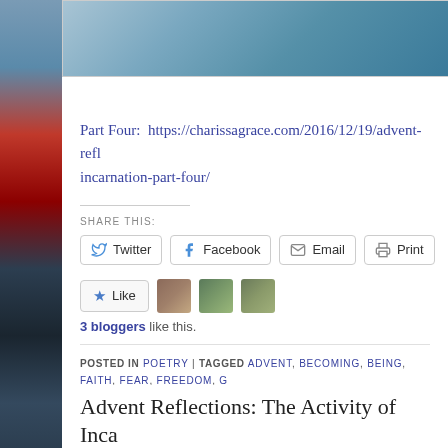[Figure (photo): Top decorative image bar showing a wintry outdoor scene]
[Figure (photo): Left side decorative image strip with red and dark colors]
Part Four:  https://charissagrace.com/2016/12/19/advent-reflections-the-activity-of-incarnation-part-four/
SHARE THIS:
Twitter  Facebook  Email  Print
Like  3 bloggers like this.
POSTED IN POETRY | TAGGED ADVENT, BECOMING, BEING, FAITH, FEAR, FREEDOM, G... INCARNATION, JESUS, LADY GRACE, LOVE, MERCY, REDEMPTION, RELIGION AND SP... SHEPHERDS, TRANSFORMATION, TRANSITION
Advent Reflections: The Activity of Inca...